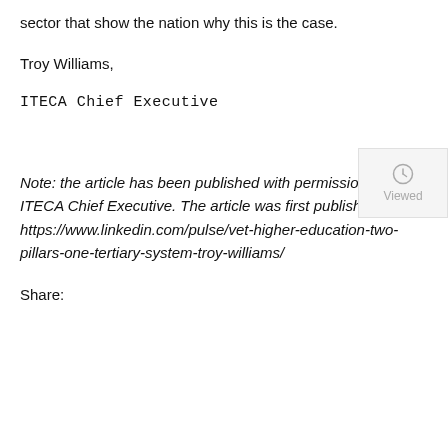sector that show the nation why this is the case.
Troy Williams,
ITECA Chief Executive
Note: the article has been published with permission from the ITECA Chief Executive. The article was first published at https://www.linkedin.com/pulse/vet-higher-education-two-pillars-one-tertiary-system-troy-williams/
Share: